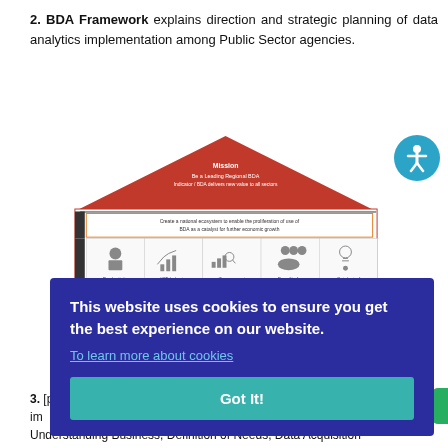2. BDA Framework explains direction and strategic planning of data analytics implementation among Public Sector agencies.
[Figure (infographic): BDA Framework diagram shaped like a house with a red triangular roof labeled 'Mission: Be a Leading Regional BDA Indicator / BDA delivers new value to all sectors'. Below the roof is a mission box: 'Create a national ecosystem to enable the proliferation of use of BDA as a catalyst for further economic growth'. Outcomes row shows 5 icons: Productivity, ICT Industry, Government, Benefits for, Catalyst of Game Changing.]
This website uses cookies to ensure you get the best experience on our website.
To learn more about cookies
Got It!
3. [partially obscured text] ...Understanding Business, Definition of Needs, Data Acquisition